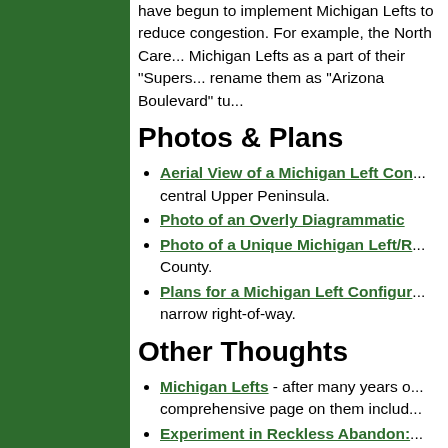have begun to implement Michigan Lefts to reduce congestion. For example, the North Care... Michigan Lefts as a part of their "Supers..." rename them as "Arizona Boulevard" tu...
Photos & Plans
Aerial View of a Michigan Left Con... central Upper Peninsula.
Photo of an Overly Diagrammatic...
Photo of a Unique Michigan Left/R... County.
Plans for a Michigan Left Configu... narrow right-of-way.
Other Thoughts
Michigan Lefts - after many years o... comprehensive page on them includ...
Experiment in Reckless Abandon:... California and, while she loves the "g... whoever they are—have decided in ... turn when they want to.... You are o...